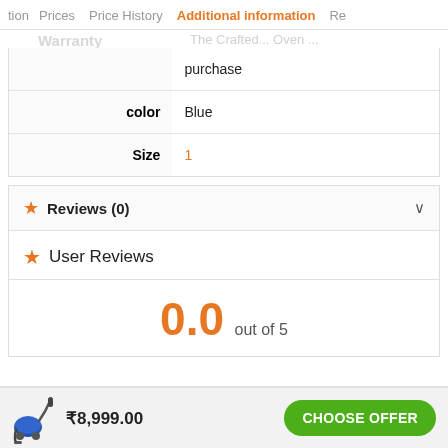tion   Prices   Price History   Additional information   Re
|  | purchase |
| color | Blue |
| Size | 1 |
★ Reviews (0)
★ User Reviews
0.0 out of 5
₹8,999.00
CHOOSE OFFER